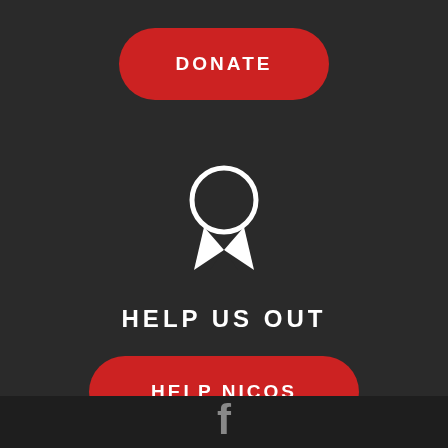DONATE
[Figure (illustration): White award ribbon/medal icon on dark background]
HELP US OUT
HELP NICOS
[Figure (logo): Facebook 'f' logo icon in footer bar]